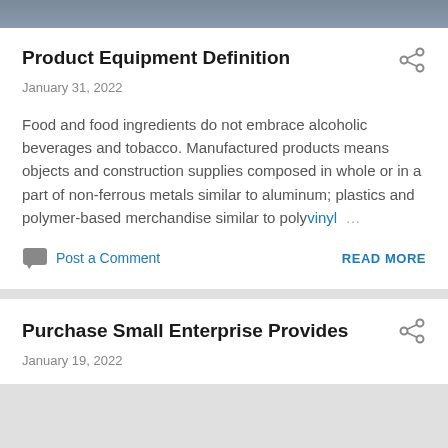Product Equipment Definition
January 31, 2022
Food and food ingredients do not embrace alcoholic beverages and tobacco. Manufactured products means objects and construction supplies composed in whole or in a part of non-ferrous metals similar to aluminum; plastics and polymer-based merchandise similar to polyvinyl …
Post a Comment   READ MORE
Purchase Small Enterprise Provides
January 19, 2022